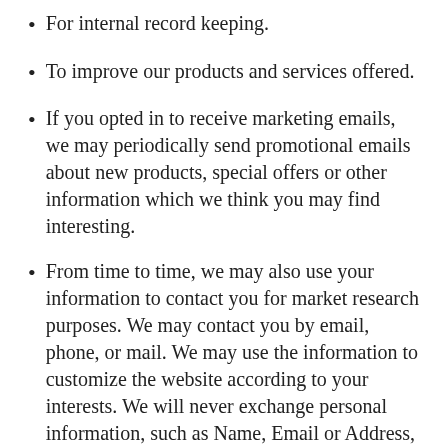For internal record keeping.
To improve our products and services offered.
If you opted in to receive marketing emails, we may periodically send promotional emails about new products, special offers or other information which we think you may find interesting.
From time to time, we may also use your information to contact you for market research purposes. We may contact you by email, phone, or mail. We may use the information to customize the website according to your interests. We will never exchange personal information, such as Name, Email or Address, with any other companies or services,